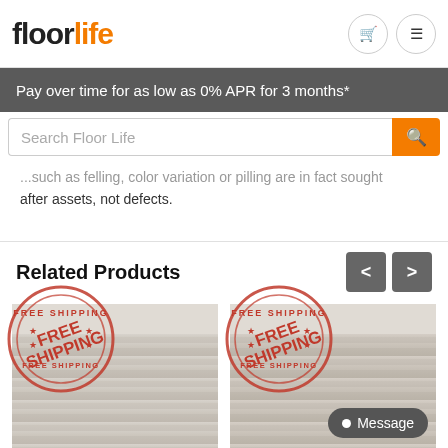floorlife
Pay over time for as low as 0% APR for 3 months*
Search Floor Life
...such as felling, color variation or pilling are in fact sought after assets, not defects.
Related Products
[Figure (photo): Two product images showing flooring samples with FREE SHIPPING stamp overlays]
Message